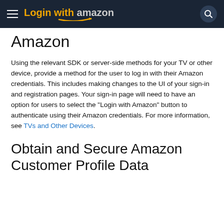Login with Amazon
Amazon
Using the relevant SDK or server-side methods for your TV or other device, provide a method for the user to log in with their Amazon credentials. This includes making changes to the UI of your sign-in and registration pages. Your sign-in page will need to have an option for users to select the "Login with Amazon" button to authenticate using their Amazon credentials. For more information, see TVs and Other Devices.
Obtain and Secure Amazon Customer Profile Data